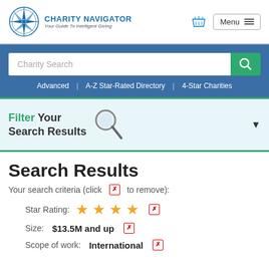[Figure (logo): Charity Navigator logo with compass rose and text 'CHARITY NAVIGATOR Your Guide To Intelligent Giving']
Charity Search
Advanced | A-Z Star-Rated Directory | 4-Star Charities
Filter Your Search Results
Search Results
Your search criteria (click [x] to remove):
Star Rating: ★★★★ [x]
Size: $13.5M and up [x]
Scope of work: International [x]